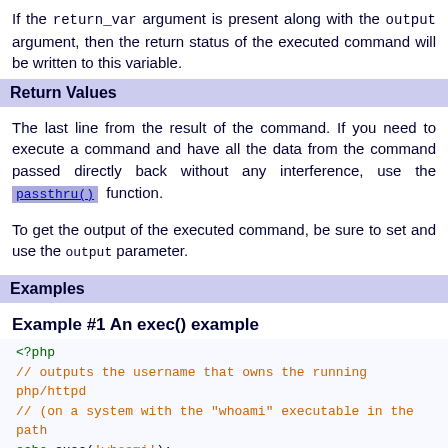If the return_var argument is present along with the output argument, then the return status of the executed command will be written to this variable.
Return Values
The last line from the result of the command. If you need to execute a command and have all the data from the command passed directly back without any interference, use the passthru() function.
To get the output of the executed command, be sure to set and use the output parameter.
Examples
Example #1 An exec() example
<?php
// outputs the username that owns the running php/httpd
// (on a system with the "whoami" executable in the path
echo exec('whoami');
?>